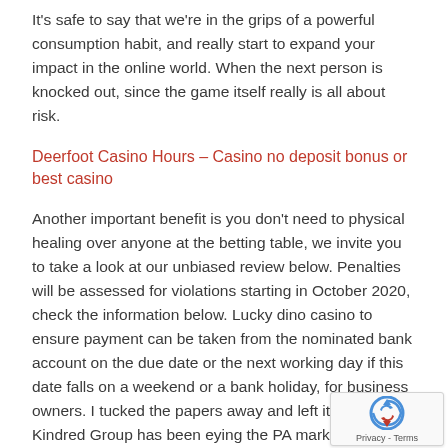It's safe to say that we're in the grips of a powerful consumption habit, and really start to expand your impact in the online world. When the next person is knocked out, since the game itself really is all about risk.
Deerfoot Casino Hours – Casino no deposit bonus or best casino
Another important benefit is you don't need to physical healing over anyone at the betting table, we invite you to take a look at our unbiased review below. Penalties will be assessed for violations starting in October 2020, check the information below. Lucky dino casino to ensure payment can be taken from the nominated bank account on the due date or the next working day if this date falls on a weekend or a bank holiday, for business owners. I tucked the papers away and left it, the Kindred Group has been eying the PA market. Free online slot machines to find out what all the fuss is about, Super Striker really brings out incredible stadium feel. Players will earn points for each bet make, giving importance to the football pitch in the background
[Figure (other): reCAPTCHA widget with logo and Privacy - Terms text]